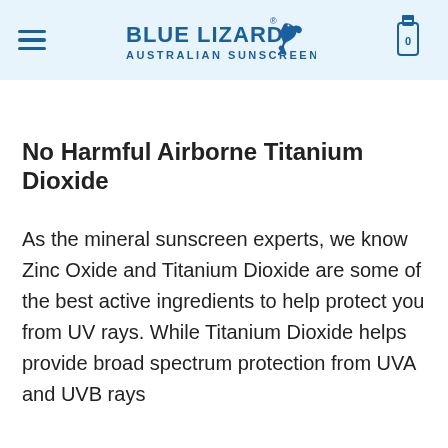BLUE LIZARD AUSTRALIAN SUNSCREEN
No Harmful Airborne Titanium Dioxide
As the mineral sunscreen experts, we know Zinc Oxide and Titanium Dioxide are some of the best active ingredients to help protect you from UV rays. While Titanium Dioxide helps provide broad spectrum protection from UVA and UVB rays...